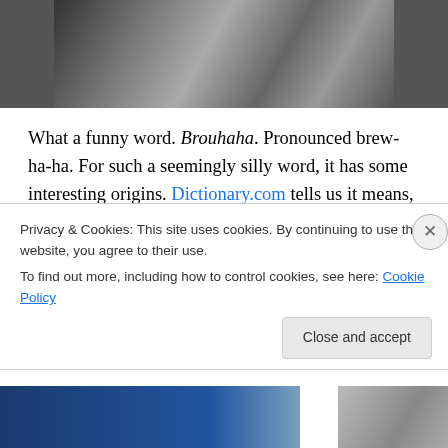[Figure (photo): Black and white photo of people in carnival/festival costumes, partially visible at top of page]
What a funny word. Brouhaha. Pronounced brew-ha-ha. For such a seemingly silly word, it has some interesting origins. Dictionary.com tells us it means, “excited public interest, discussion or the like” or “an episode involving excitement, confusion, turmoil.” It’s either from the French, “brou, ha, ha!” which apparently was an exclamation by a character representing the devil in the 16th century. Or it could be from the Hebrew, “a distortion of the recited
Privacy & Cookies: This site uses cookies. By continuing to use this website, you agree to their use.
To find out more, including how to control cookies, see here: Cookie Policy
Close and accept